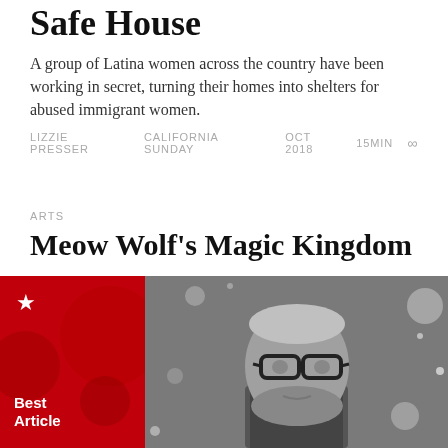Safe House
A group of Latina women across the country have been working in secret, turning their homes into shelters for abused immigrant women.
LIZZIE PRESSER   CALIFORNIA SUNDAY   OCT 2018   15MIN   ∞
ARTS
Meow Wolf's Magic Kingdom
How a ragtag group of artists launched an art-entertainment empire.
TAYLOR CLARK   CALIFORNIA SUNDAY   SEP 2018   20MIN   ∞
[Figure (photo): Red promotional box with star icon and 'Best Article' text alongside a black-and-white photo of a bearded man wearing glasses]